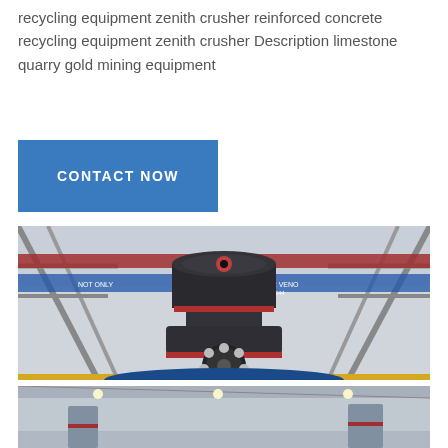recycling equipment zenith crusher reinforced concrete recycling equipment zenith crusher Description limestone quarry gold mining equipment
[Figure (other): Blue 'CONTACT NOW' button]
[Figure (photo): Large industrial cone crusher / zenith crusher machine displayed in a factory/exhibition hall with steel scaffolding structure, red and blue banners, and a blue circular display platform]
[Figure (photo): Bottom portion of second photo showing industrial equipment in a hall]